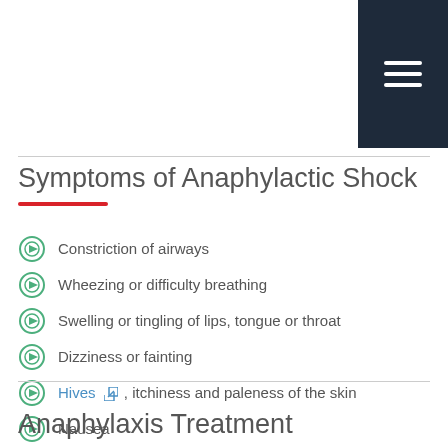[Figure (other): Navigation hamburger menu icon on dark navy background in top-right corner]
Symptoms of Anaphylactic Shock
Constriction of airways
Wheezing or difficulty breathing
Swelling or tingling of lips, tongue or throat
Dizziness or fainting
Hives , itchiness and paleness of the skin
Nausea
Vomiting
Feeling sudden warmth
Anaphylaxis Treatment